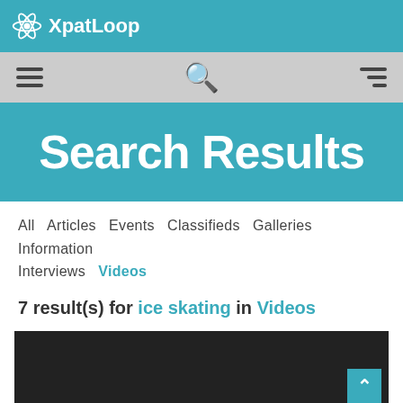XpatLoop
[Figure (screenshot): Navigation bar with hamburger menu icon on left, search icon in center, and right-aligned menu icon on right, on grey background]
Search Results
All Articles Events Classifieds Galleries Information Interviews Videos
7 result(s) for ice skating in Videos
[Figure (screenshot): Dark/black video thumbnail area with a back-to-top button in teal in the bottom right corner]